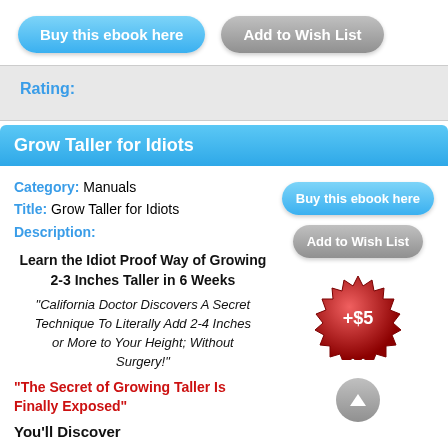[Figure (screenshot): Two buttons: 'Buy this ebook here' (blue) and 'Add to Wish List' (gray)]
Rating:
Grow Taller for Idiots
Category: Manuals
Title: Grow Taller for Idiots
Description:
Learn the Idiot Proof Way of Growing 2-3 Inches Taller in 6 Weeks
"California Doctor Discovers A Secret Technique To Literally Add 2-4 Inches or More to Your Height; Without Surgery!"
"The Secret of Growing Taller Is Finally Exposed"
You'll Discover